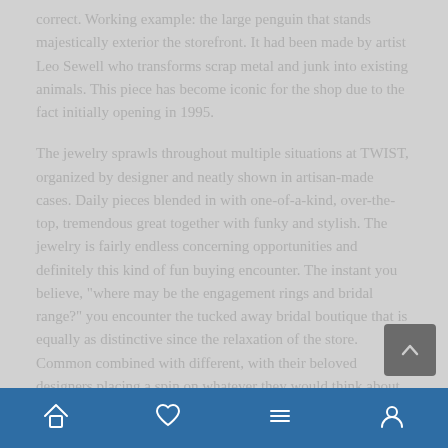correct. Working example: the large penguin that stands majestically exterior the storefront. It had been made by artist Leo Sewell who transforms scrap metal and junk into existing animals. This piece has become iconic for the shop due to the fact initially opening in 1995.
The jewelry sprawls throughout multiple situations at TWIST, organized by designer and neatly shown in artisan-made cases. Daily pieces blended in with one-of-a-kind, over-the-top, tremendous great together with funky and stylish. The jewelry is fairly endless concerning opportunities and definitely this kind of fun buying encounter. The instant you believe, "where may be the engagement rings and bridal range?" you encounter the tucked away bridal boutique that is equally as distinctive since the relaxation of the store. Common combined with different, with their beloved designers placing a spin on whatever they would think about bridal, this segment reveals a great deal to swoon over. Certainly, you will discover diamonds, but there's also "rustic" diamonds, special minimize diamonds, inverted diamonds, extravagant coloured diamonds, and a great deal other possibilities you'll most definitely
[Figure (other): Scroll-to-top button icon (upward arrow) on dark grey background]
Bottom navigation bar with home, heart, menu, and profile icons